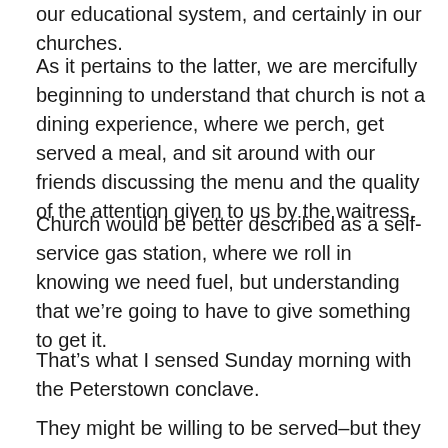our educational system, and certainly in our churches.
As it pertains to the latter, we are mercifully beginning to understand that church is not a dining experience, where we perch, get served a meal, and sit around with our friends discussing the menu and the quality of the attention given to us by the waitress.
Church would be better described as a self-service gas station, where we roll in knowing we need fuel, but understanding that we're going to have to give something to get it.
That's what I sensed Sunday morning with the Peterstown conclave.
They might be willing to be served–but they also were completely open to the idea that it is their turn to give back